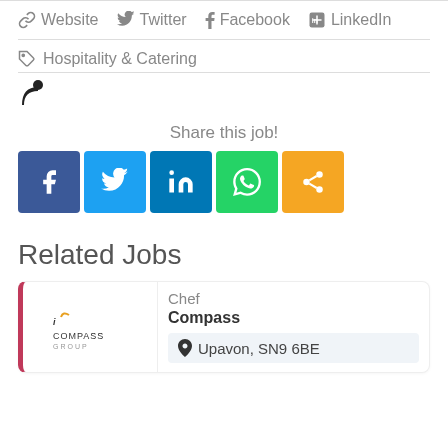Website  Twitter  Facebook  LinkedIn
Hospitality & Catering
Share this job!
[Figure (infographic): Social share buttons: Facebook (dark blue), Twitter (light blue), LinkedIn (dark blue), WhatsApp (green), Share (orange)]
Related Jobs
Chef
Compass
Upavon, SN9 6BE